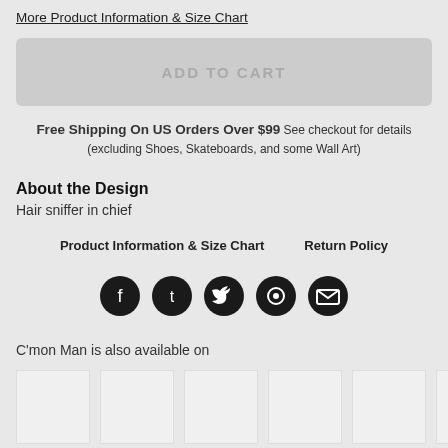More Product Information & Size Chart
ADD TO CART
Free Shipping On US Orders Over $99 See checkout for details (excluding Shoes, Skateboards, and some Wall Art)
About the Design
Hair sniffer in chief
Product Information & Size Chart   Return Policy
[Figure (infographic): Social share icons: Facebook, Tumblr, Twitter, Pinterest, Email]
C'mon Man is also available on
[Figure (other): Product thumbnail images row]